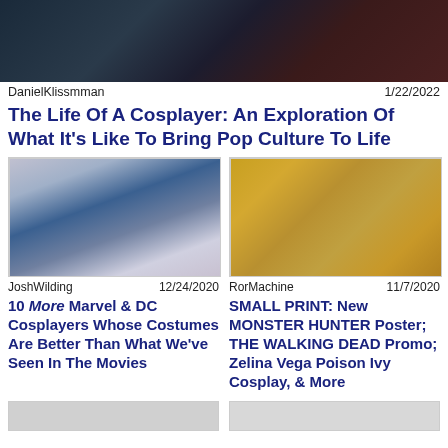[Figure (photo): Dark blurred image showing dark teal and dark red tones, appears to be a cosplay or event photo]
DanielKlissmman	1/22/2022
The Life Of A Cosplayer: An Exploration Of What It's Like To Bring Pop Culture To Life
[Figure (photo): Blurred photo of a blue-skinned cosplayer (Mystique) with red hair]
JoshWilding	12/24/2020
10 More Marvel & DC Cosplayers Whose Costumes Are Better Than What We've Seen In The Movies
[Figure (photo): Blurred photo with golden/amber tones showing a cosplay figure]
RorMachine	11/7/2020
SMALL PRINT: New MONSTER HUNTER Poster; THE WALKING DEAD Promo; Zelina Vega Poison Ivy Cosplay, & More